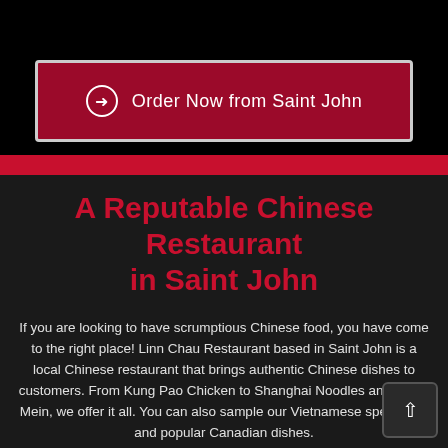[Figure (screenshot): Red button with circle arrow icon reading 'Order Now from Saint John' on dark background]
A Reputable Chinese Restaurant in Saint John
If you are looking to have scrumptious Chinese food, you have come to the right place! Linn Chau Restaurant based in Saint John is a local Chinese restaurant that brings authentic Chinese dishes to customers. From Kung Pao Chicken to Shanghai Noodles and Chow Mein, we offer it all. You can also sample our Vietnamese specialties and popular Canadian dishes.